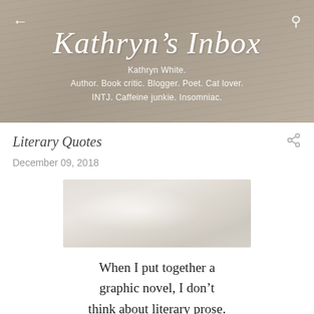Kathryn's Inbox
Kathryn White.
Author. Book critic. Blogger. Poet. Cat lover.
INTJ. Caffeine junkie. Insomniac.
Literary Quotes
December 09, 2018
[Figure (photo): Blurred close-up image, light colored background]
When I put together a graphic novel, I don't think about literary prose. I think about storytelling.